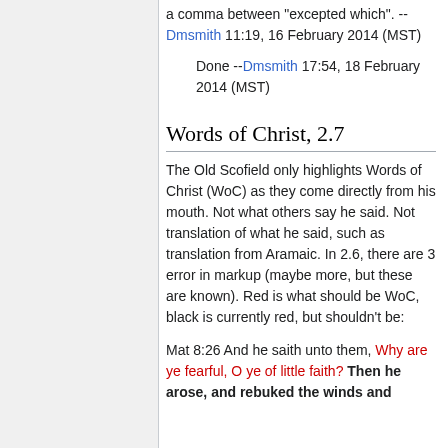a comma between "excepted which". --Dmsmith 11:19, 16 February 2014 (MST)
Done --Dmsmith 17:54, 18 February 2014 (MST)
Words of Christ, 2.7
The Old Scofield only highlights Words of Christ (WoC) as they come directly from his mouth. Not what others say he said. Not translation of what he said, such as translation from Aramaic. In 2.6, there are 3 error in markup (maybe more, but these are known). Red is what should be WoC, black is currently red, but shouldn't be:
Mat 8:26 And he saith unto them, Why are ye fearful, O ye of little faith? Then he arose, and rebuked the winds and